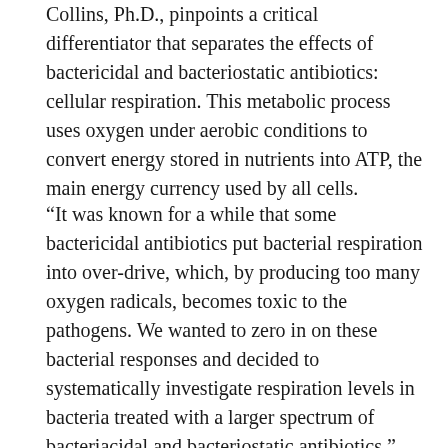Collins, Ph.D., pinpoints a critical differentiator that separates the effects of bactericidal and bacteriostatic antibiotics: cellular respiration. This metabolic process uses oxygen under aerobic conditions to convert energy stored in nutrients into ATP, the main energy currency used by all cells.
“It was known for a while that some bactericidal antibiotics put bacterial respiration into over-drive, which, by producing too many oxygen radicals, becomes toxic to the pathogens. We wanted to zero in on these bacterial responses and decided to systematically investigate respiration levels in bacteria treated with a larger spectrum of bacteriacidal and bacteriostatic antibiotics,” said Michael Lobritz, the study’s first author who is a Wyss Institute Clinical Fellow, an instructor at Harvard Medical School, and an infectious disease physician at the Massachusetts General Hospital (MGH).